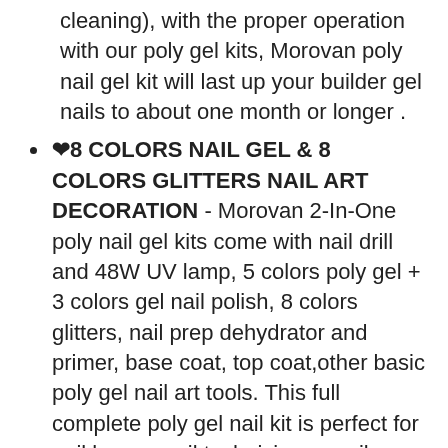cleaning), with the proper operation with our poly gel kits, Morovan poly nail gel kit will last up your builder gel nails to about one month or longer .
❤8 COLORS NAIL GEL & 8 COLORS GLITTERS NAIL ART DECORATION - Morovan 2-In-One poly nail gel kits come with nail drill and 48W UV lamp, 5 colors poly gel + 3 colors gel nail polish, 8 colors glitters, nail prep dehydrator and primer, base coat, top coat,other basic poly gel nail art tools. This full complete poly gel nail kit is perfect for nail lovers, nail technician or nail beginners to build strong, flexible, feather-light nail extension.
❤ WARM TIPS & BEST SERVICE OF THIS POLY GEL NAIL KIT - All of polygel nail kit supplies have been checked before